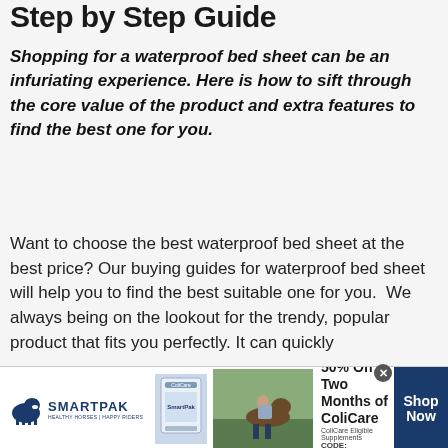Step by Step Guide
Shopping for a waterproof bed sheet can be an infuriating experience. Here is how to sift through the core value of the product and extra features to find the best one for you.
Want to choose the best waterproof bed sheet at the best price? Our buying guides for waterproof bed sheet will help you to find the best suitable one for you.  We always being on the lookout for the trendy, popular product that fits you perfectly. It can quickly
[Figure (other): SmartPak advertisement banner: 50% Off Two Months of ColiCare, ColiCare Eligible Supplements, CODE: COLICARE10, with Shop Now button]